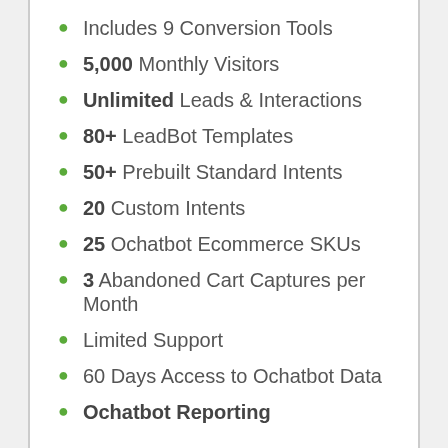Includes 9 Conversion Tools
5,000 Monthly Visitors
Unlimited Leads & Interactions
80+ LeadBot Templates
50+ Prebuilt Standard Intents
20 Custom Intents
25 Ochatbot Ecommerce SKUs
3 Abandoned Cart Captures per Month
Limited Support
60 Days Access to Ochatbot Data
Ochatbot Reporting